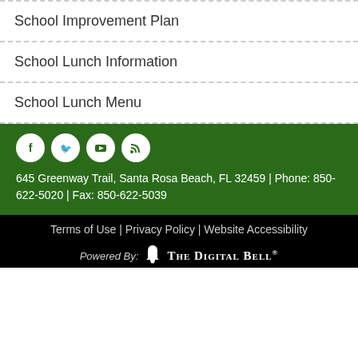School Improvement Plan
School Lunch Information
School Lunch Menu
645 Greenway Trail, Santa Rosa Beach, FL 32459 | Phone: 850-622-5020 | Fax: 850-622-5039
Terms of Use | Privacy Policy | Website Accessibility
Powered By: THE DIGITAL BELL®